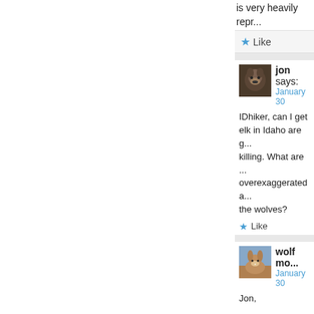is very heavily repr...
★ Like
jon says: January 30
IDhiker, can I get... elk in Idaho are g... killing. What are ... overexaggerated a... the wolves?
★ Like
wolf mo... January 30
Jon,
I hunted about 30 and we heard the... of 10 members. T... road) or meadows...